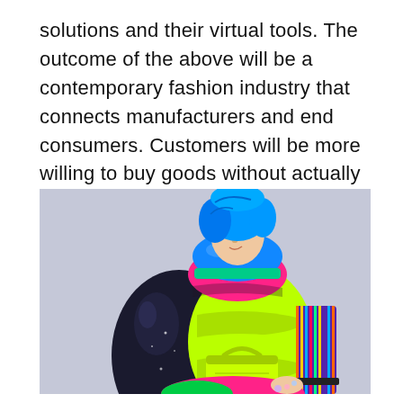solutions and their virtual tools. The outcome of the above will be a contemporary fashion industry that connects manufacturers and end consumers. Customers will be more willing to buy goods without actually trying them on.
[Figure (photo): A person with blue hair wearing an eclectic, colorful layered outfit consisting of a neon green puffer jacket, pink and blue inflatable neck piece, black puffer coat, multicolor striped fabric, and a neon green handbag, photographed against a light grey/lavender background.]